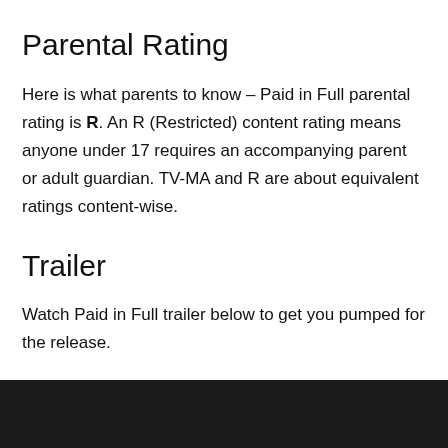Parental Rating
Here is what parents to know – Paid in Full parental rating is R. An R (Restricted) content rating means anyone under 17 requires an accompanying parent or adult guardian. TV-MA and R are about equivalent ratings content-wise.
Trailer
Watch Paid in Full trailer below to get you pumped for the release.
[Figure (other): Dark/black video player area at the bottom of the page]